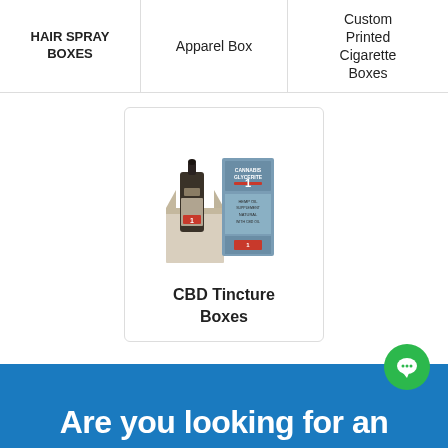HAIR SPRAY BOXES
Apparel Box
Custom Printed Cigarette Boxes
[Figure (photo): CBD tincture bottle with dropper next to its packaging box, displayed in an open cardboard box]
CBD Tincture Boxes
Are you looking for an